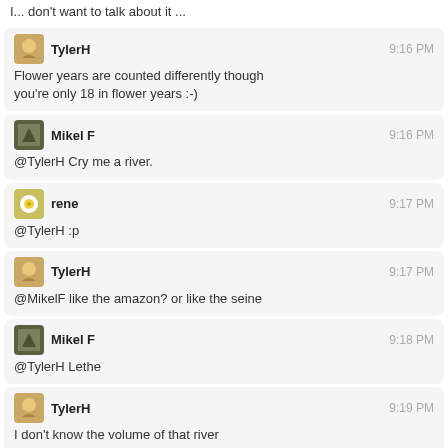I... don't want to talk about it ...
TylerH 9:16 PM
Flower years are counted differently though
you're only 18 in flower years :-)
Mikel F 9:16 PM
@TylerH Cry me a river.
rene 9:17 PM
@TylerH :p
TylerH 9:17 PM
@MikelF like the amazon? or like the seine
Mikel F 9:18 PM
@TylerH Lethe
TylerH 9:19 PM
I don't know the volume of that river
will I survive a dip in it
Mikel F 9:20 PM
I don't remember
rene 9:20 PM
don't go head first